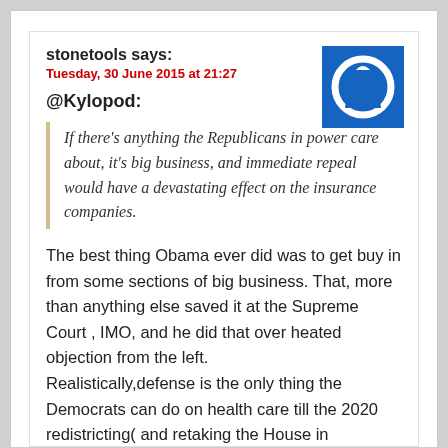stonetools says:
Tuesday, 30 June 2015 at 21:27
@Kylopod:
If there’s anything the Republicans in power care about, it’s big business, and immediate repeal would have a devastating effect on the insurance companies.
The best thing Obama ever did was to get buy in from some sections of big business. That, more than anything else saved it at the Supreme Court , IMO, and he did that over heated objection from the left.
Realistically,defense is the only thing the Democrats can do on health care till the 2020 redistricting( and retaking the House in 2024).They might be able to tweak a few things, but that’s all the House Republicans will allow, and I think they’ll only allow that because the ACA will continue to be...